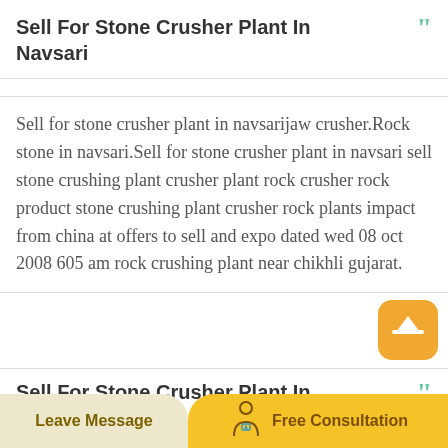Sell For Stone Crusher Plant In Navsari
Sell for stone crusher plant in navsarijaw crusher.Rock stone in navsari.Sell for stone crusher plant in navsari sell stone crushing plant crusher plant rock crusher rock product stone crushing plant crusher rock plants impact from china at offers to sell and expo dated wed 08 oct 2008 605 am rock crushing plant near chikhli gujarat.
Sell For Stone Crusher Plant In Navsari
Leave Message   Free Consultation